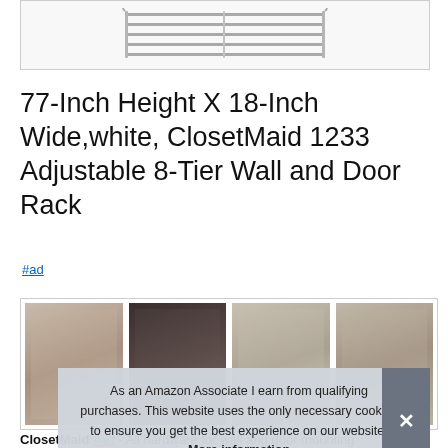[Figure (photo): Partial product image of a wire rack/shelf at the top of the page]
77-Inch Height X 18-Inch Wide,white, ClosetMaid 1233 Adjustable 8-Tier Wall and Door Rack
#ad
[Figure (photo): Four thumbnail product images of ClosetMaid wall and door rack installed in various settings]
As an Amazon Associate I earn from qualifying purchases. This website uses the only necessary cookies to ensure you get the best experience on our website. More information
ClosetMaid #ad - All hardware for wall and door mounting